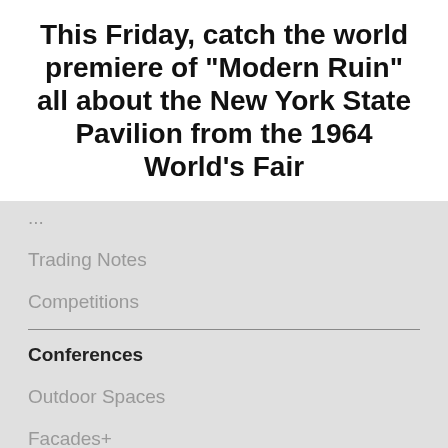This Friday, catch the world premiere of "Modern Ruin" all about the New York State Pavilion from the 1964 World's Fair
...
Trading Notes
Competitions
Conferences
Outdoor Spaces
Facades+
Tech+
TimberCon